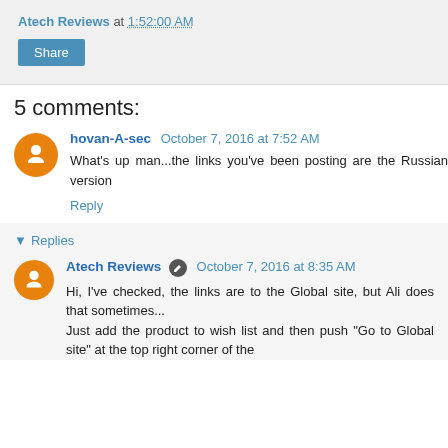Atech Reviews at 1:52:00 AM
Share
5 comments:
hovan-A-sec  October 7, 2016 at 7:52 AM
What's up man...the links you've been posting are the Russian version
Reply
▾ Replies
Atech Reviews  October 7, 2016 at 8:35 AM
Hi, I've checked, the links are to the Global site, but Ali does that sometimes...
Just add the product to wish list and then push "Go to Global site" at the top right corner of the
site, it'll be showing English language...